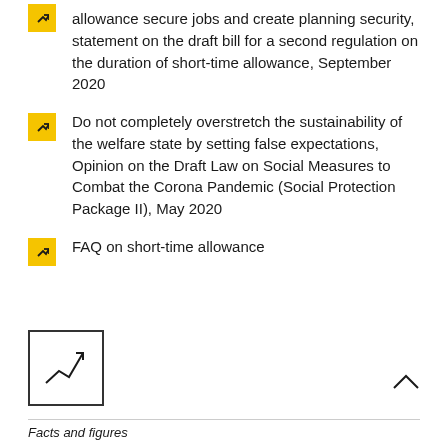allowance secure jobs and create planning security, statement on the draft bill for a second regulation on the duration of short-time allowance, September 2020
Do not completely overstretch the sustainability of the welfare state by setting false expectations, Opinion on the Draft Law on Social Measures to Combat the Corona Pandemic (Social Protection Package II), May 2020
FAQ on short-time allowance
[Figure (other): Line chart icon with upward trending arrow inside a square border]
Facts and figures